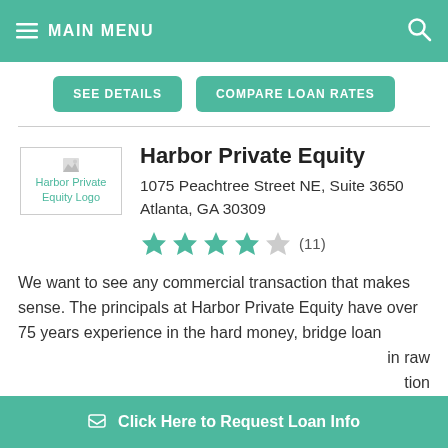MAIN MENU
SEE DETAILS | COMPARE LOAN RATES
Harbor Private Equity
1075 Peachtree Street NE, Suite 3650
Atlanta, GA 30309
★★★★☆ (11)
We want to see any commercial transaction that makes sense. The principals at Harbor Private Equity have over 75 years experience in the hard money, bridge loan
Click Here to Request Loan Info